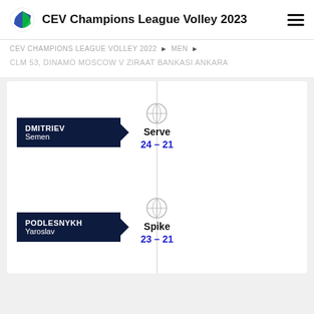CEV Champions League Volley 2023
CEV CHAMPIONS LEAGUE VOLLEY 2022 ▶ MEN ▶
CLM 53, DINAMO MOSCOW V ZIRAAT BANKASI ANKARA
[Figure (infographic): Timeline event: DMITRIEV Semen - Serve 24–21]
[Figure (infographic): Timeline event: PODLESNYKH Yaroslav - Spike 23–21]